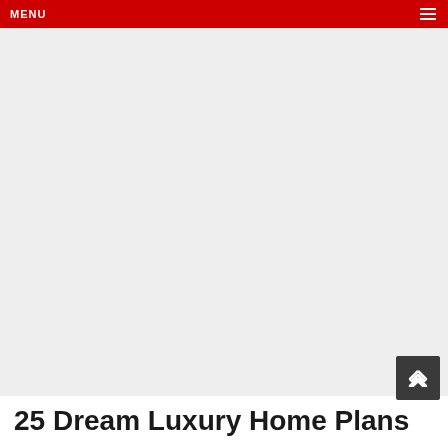MENU
[Figure (other): Large grey empty content area below the red navigation header]
25 Dream Luxury Home Plans